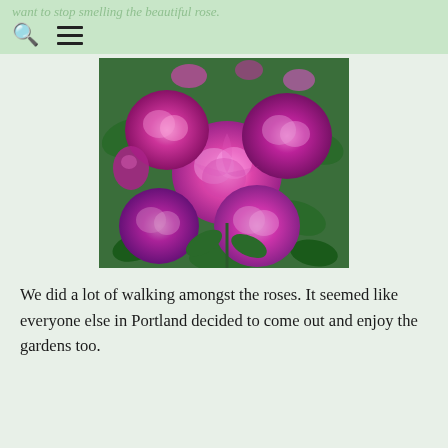want to stop smelling the beautiful rose.
[Figure (photo): Close-up photo of large magenta/purple roses in full bloom with green leaves, multiple rose heads visible]
We did a lot of walking amongst the roses. It seemed like everyone else in Portland decided to come out and enjoy the gardens too.